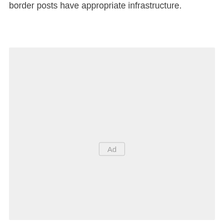border posts have appropriate infrastructure.
[Figure (other): Advertisement placeholder box with 'Ad' label centered inside a light grey rectangle.]